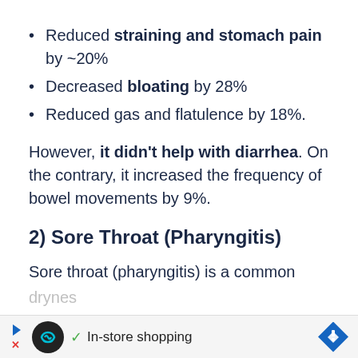Reduced straining and stomach pain by ~20%
Decreased bloating by 28%
Reduced gas and flatulence by 18%.
However, it didn't help with diarrhea. On the contrary, it increased the frequency of bowel movements by 9%.
2) Sore Throat (Pharyngitis)
Sore throat (pharyngitis) is a common throat infection, usually caused by bacteria or viruses. It causes dryness... swallo...